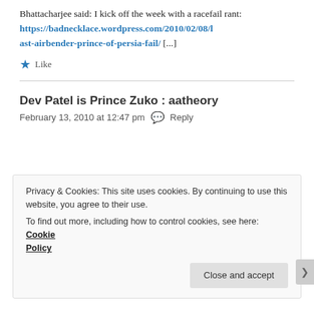Bhattacharjee said: I kick off the week with a racefail rant: https://badnecklace.wordpress.com/2010/02/08/last-airbender-prince-of-persia-fail/ [...]
Like
Dev Patel is Prince Zuko : aatheory
February 13, 2010 at 12:47 pm  Reply
Privacy & Cookies: This site uses cookies. By continuing to use this website, you agree to their use. To find out more, including how to control cookies, see here: Cookie Policy
Close and accept